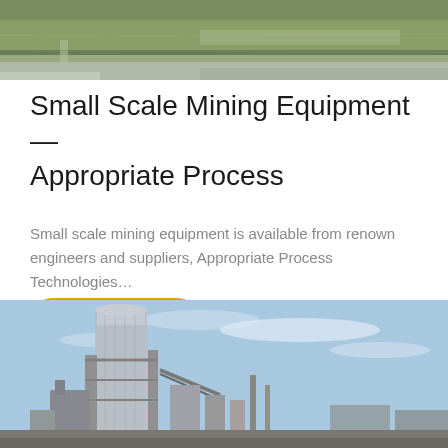[Figure (photo): Aerial view of a mining or industrial facility with green fields and paved area]
Small Scale Mining Equipment — Appropriate Process
Small scale mining equipment is available from renown engineers and suppliers, Appropriate Process Technologies…
Learn More
[Figure (photo): Industrial processing plant with tall silo/tower structure, scaffolding, and equipment against a blue sky]